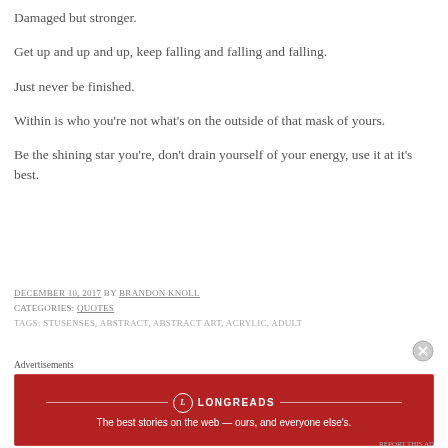Damaged but stronger.
Get up and up and up, keep falling and falling and falling.
Just never be finished.
Within is who you're not what's on the outside of that mask of yours.
Be the shining star you're, don't drain yourself of your energy, use it at it's best.
DECEMBER 10, 2017 BY BRANDON KNOLL
CATEGORIES: QUOTES
TAGS: STUSENSES, ABSTRACT, ABSTRACT ART, ACRYLIC, ADULT
[Figure (infographic): Longreads advertisement banner: red background with Longreads logo and text 'The best stories on the web — ours, and everyone else's.']